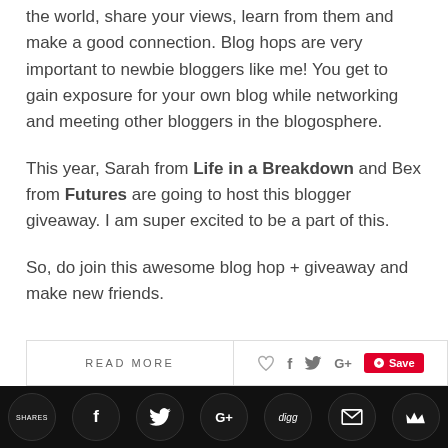the world, share your views, learn from them and make a good connection. Blog hops are very important to newbie bloggers like me! You get to gain exposure for your own blog while networking and meeting other bloggers in the blogosphere.
This year, Sarah from Life in a Breakdown and Bex from Futures are going to host this blogger giveaway. I am super excited to be a part of this.
So, do join this awesome blog hop + giveaway and make new friends.
[Figure (other): Bottom bar with READ MORE button on left, social share icons (heart, facebook, twitter, google+, Pinterest Save button) on right, and bottom row of circular social share icons (Shares, Facebook, Twitter, Google+, Digg, Email, Crown)]